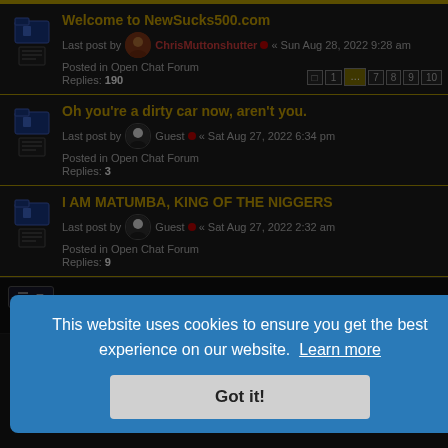Welcome to NewSucks500.com
Last post by ChrisMuttonshutter « Sun Aug 28, 2022 9:28 am
Posted in Open Chat Forum
Replies: 190
Oh you're a dirty car now, aren't you.
Last post by Guest « Sat Aug 27, 2022 6:34 pm
Posted in Open Chat Forum
Replies: 3
I AM MATUMBA, KING OF THE NIGGERS
Last post by Guest « Sat Aug 27, 2022 2:32 am
Posted in Open Chat Forum
Replies: 9
Search found 22 matches • Page 1 of 1
This website uses cookies to ensure you get the best experience on our website. Learn more
Got it!